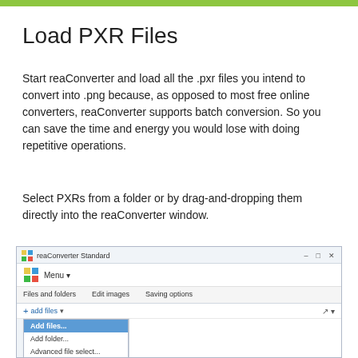Load PXR Files
Start reaConverter and load all the .pxr files you intend to convert into .png because, as opposed to most free online converters, reaConverter supports batch conversion. So you can save the time and energy you would lose with doing repetitive operations.
Select PXRs from a folder or by drag-and-dropping them directly into the reaConverter window.
[Figure (screenshot): reaConverter Standard application window showing dropdown menu with options: Add files..., Add folder..., Advanced file select..., Load from text file...]